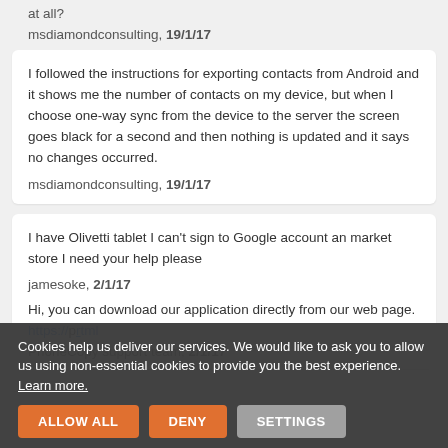at all?
msdiamondconsulting, 19/1/17
I followed the instructions for exporting contacts from Android and it shows me the number of contacts on my device, but when I choose one-way sync from the device to the server the screen goes black for a second and then nothing is updated and it says no changes occurred.
msdiamondconsulting, 19/1/17
I have Olivetti tablet I can't sign to Google account an market store I need your help please
jamesoke, 2/1/17
Hi, you can download our application directly from our web page. https://...tml
PhoneCopy support team, 2/1/17
Cookies help us deliver our services. We would like to ask you to allow us using non-essential cookies to provide you the best experience. Learn more.